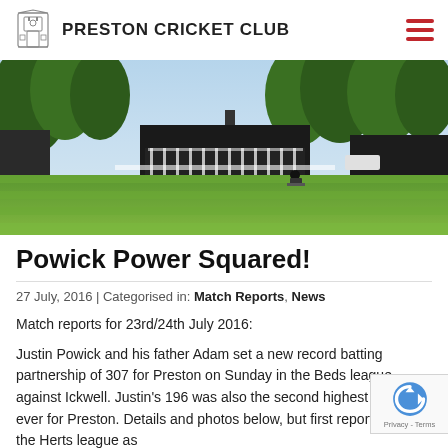PRESTON CRICKET CLUB
[Figure (photo): Cricket ground with green grass pitch, pavilion building in background, trees, blue sky. A groundskeeper operating a mower is visible on the pitch.]
Powick Power Squared!
27 July, 2016 | Categorised in: Match Reports, News
Match reports for 23rd/24th July 2016:
Justin Powick and his father Adam set a new record batting partnership of 307 for Preston on Sunday in the Beds league against Ickwell. Justin's 196 was also the second highest score ever for Preston. Details and photos below, but first reports from the Herts league as